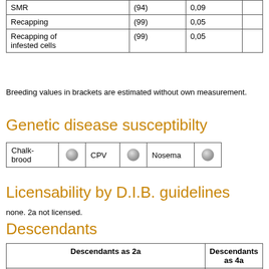|  |  |  |  |
| --- | --- | --- | --- |
| SMR | (94) | 0,09 |  |
| Recapping | (99) | 0,05 |  |
| Recapping of infested cells | (99) | 0,05 |  |
Breeding values in brackets are estimated without own measurement.
Genetic disease susceptibilty
| Chalkbrood |  | CPV |  | Nosema |  |
| --- | --- | --- | --- | --- | --- |
Licensability by D.I.B. guidelines
none. 2a not licensed.
Descendants
| Descendants as 2a | Descendants as 4a |
| --- | --- |
| NL-55-4-47-2020 NL-55-4-48-2020 NL-55-16-14-2020 NL-55-16-19-2020 NL-55-16-20-2020 NL-55-16-37-2020 NL-55-16-38-2020 NL-55-16-45-2020 NL-55-16-53-2020 NL-55-16-56-2020 |  |